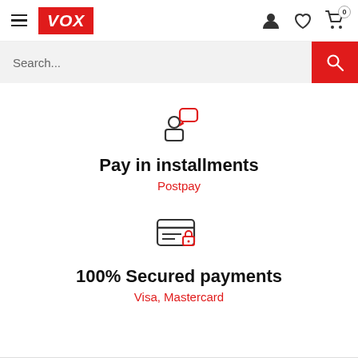[Figure (screenshot): VOX e-commerce website navigation bar with hamburger menu, VOX red logo, user icon, heart icon, and cart icon with 0 badge]
[Figure (screenshot): Search bar with placeholder text 'Search...' and red search button with magnifying glass icon]
[Figure (illustration): Icon of a person with a speech/chat bubble above, representing installment payment feature]
Pay in installments
Postpay
[Figure (illustration): Icon of a credit card with horizontal lines and a red lock, representing secured payments]
100% Secured payments
Visa, Mastercard